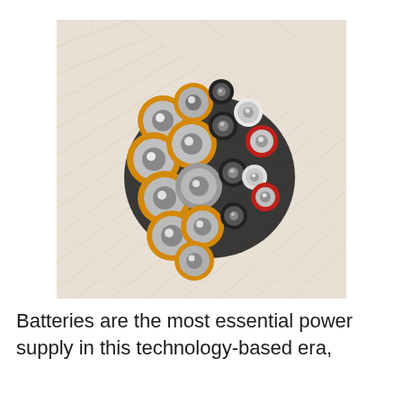[Figure (photo): Top-down close-up photograph of multiple AA and AAA batteries stood upright, arranged in a cluster. The batteries are yellow/gold, black, red, and white/silver colored, viewed from the positive terminal end, showing circular tops with metallic nubs, placed on a white paper background with faint text.]
Batteries are the most essential power supply in this technology-based era,